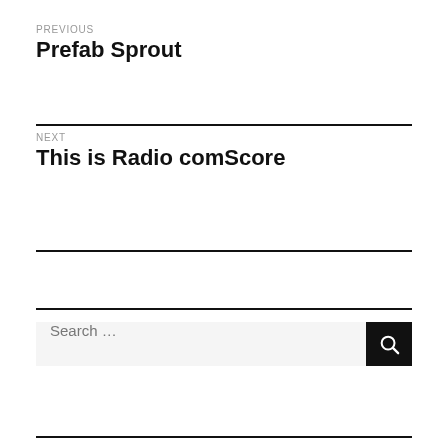PREVIOUS
Prefab Sprout
NEXT
This is Radio comScore
Search …